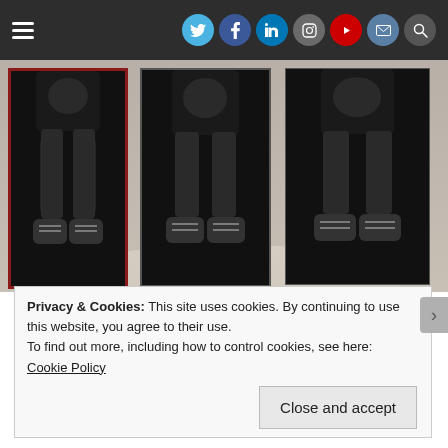Navigation bar with hamburger menu and social icons (Twitter, Facebook, LinkedIn, Instagram, YouTube, Email, Search)
[Figure (photo): Three side-by-side photos of an athlete performing a seated medicine ball exercise, shown against a dark background. Each image framed with dark red border.]
[Here is my preferred choice on AMAZON for the medicine ball.]
This can be done with a medicine ball or holding a weight. However when this move is performed your technique must be perfect or you can hurt your back. Keep the abs
Privacy & Cookies: This site uses cookies. By continuing to use this website, you agree to their use.
To find out more, including how to control cookies, see here:
Cookie Policy
Close and accept